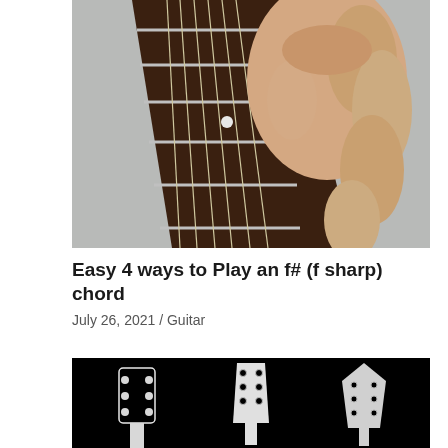[Figure (photo): Close-up photograph of a hand pressing guitar strings on a fretboard, shot from above. Brown wooden fretboard with silver frets and strings visible.]
Easy 4 ways to Play an f# (f sharp) chord
July 26, 2021  /  Guitar
[Figure (photo): Dark/black background image showing three white guitar headstock silhouettes: a classical guitar headstock on the left, an electric guitar headstock in the center, and a pointed electric guitar headstock on the right.]